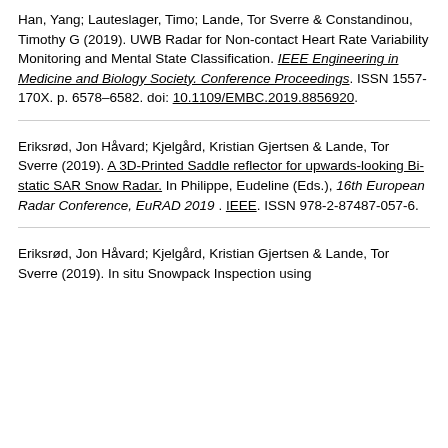Han, Yang; Lauteslager, Timo; Lande, Tor Sverre & Constandinou, Timothy G (2019). UWB Radar for Non-contact Heart Rate Variability Monitoring and Mental State Classification. IEEE Engineering in Medicine and Biology Society. Conference Proceedings. ISSN 1557-170X. p. 6578–6582. doi:10.1109/EMBC.2019.8856920.
Eriksrød, Jon Håvard; Kjelgård, Kristian Gjertsen & Lande, Tor Sverre (2019). A 3D-Printed Saddle reflector for upwards-looking Bi-static SAR Snow Radar. In Philippe, Eudeline (Eds.), 16th European Radar Conference, EuRAD 2019. IEEE. ISSN 978-2-87487-057-6.
Eriksrød, Jon Håvard; Kjelgård, Kristian Gjertsen & Lande, Tor Sverre (2019). In situ Snowpack Inspection using